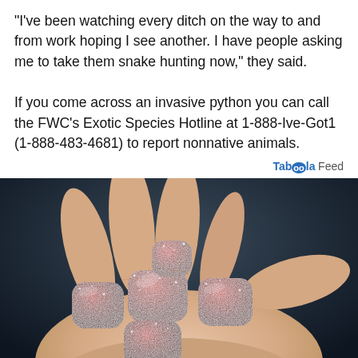"I've been watching every ditch on the way to and from work hoping I see another. I have people asking me to take them snake hunting now," they said.
If you come across an invasive python you can call the FWC's Exotic Species Hotline at 1-888-Ive-Got1 (1-888-483-4681) to report nonnative animals.
Taboola Feed
[Figure (photo): A hand holding several red sugar-coated gummy candy pieces against a dark background.]